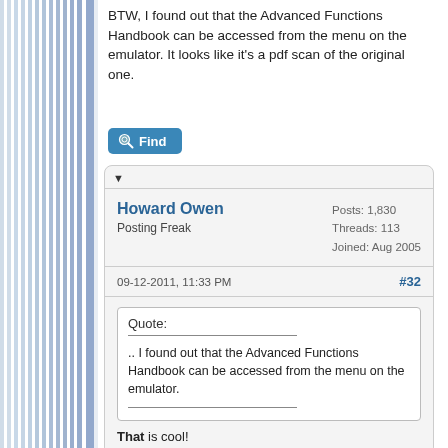BTW, I found out that the Advanced Functions Handbook can be accessed from the menu on the emulator. It looks like it's a pdf scan of the original one.
[Figure (other): Find button with magnifying glass icon]
▼
Howard Owen
Posting Freak
Posts: 1,830
Threads: 113
Joined: Aug 2005
09-12-2011, 11:33 PM
#32
Quote:
.. I found out that the Advanced Functions Handbook can be accessed from the menu on the emulator.
That is cool!